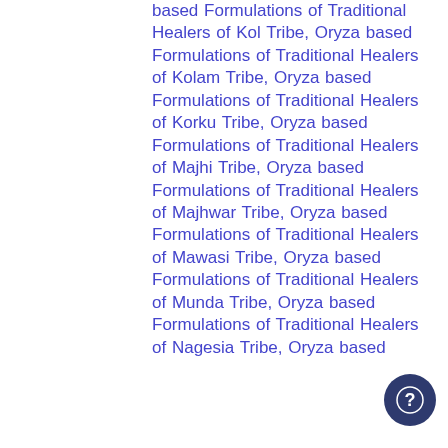based Formulations of Traditional Healers of Kol Tribe, Oryza based Formulations of Traditional Healers of Kolam Tribe, Oryza based Formulations of Traditional Healers of Korku Tribe, Oryza based Formulations of Traditional Healers of Majhi Tribe, Oryza based Formulations of Traditional Healers of Majhwar Tribe, Oryza based Formulations of Traditional Healers of Mawasi Tribe, Oryza based Formulations of Traditional Healers of Munda Tribe, Oryza based Formulations of Traditional Healers of Nagesia Tribe, Oryza based